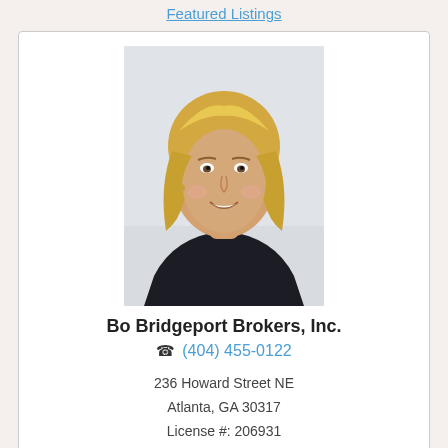Featured Listings
[Figure (photo): Headshot photo of a blonde woman smiling, wearing a dark top]
Bo Bridgeport Brokers, Inc.
(404) 455-0122
236 Howard Street NE
Atlanta, GA 30317
License #: 206931
Email Us
DMCA Notice
Janie Gray 404-455-0122
Contact me anytime for Listing or